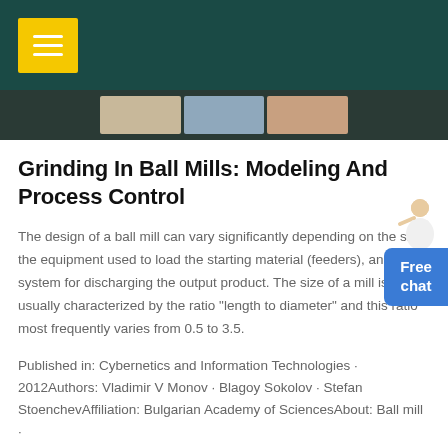[Figure (photo): Three thumbnail images of industrial equipment and machinery in a horizontal banner]
Grinding In Ball Mills: Modeling And Process Control
The design of a ball mill can vary significantly depending on the size, the equipment used to load the starting material (feeders), and the system for discharging the output product. The size of a mill is usually characterized by the ratio "length to diameter" and this ratio most frequently varies from 0.5 to 3.5.
Published in: Cybernetics and Information Technologies · 2012Authors: Vladimir V Monov · Blagoy Sokolov · Stefan StoenchevAffiliation: Bulgarian Academy of SciencesAbout: Ball mill ·